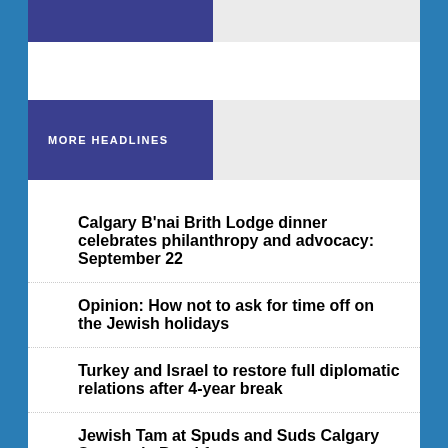MORE HEADLINES
Calgary B'nai Brith Lodge dinner celebrates philanthropy and advocacy: September 22
Opinion: How not to ask for time off on the Jewish holidays
Turkey and Israel to restore full diplomatic relations after 4-year break
Jewish Tam at Spuds and Suds Calgary Stampede Breakfast